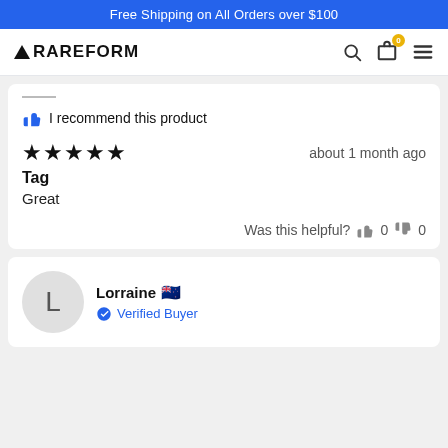Free Shipping on All Orders over $100
[Figure (logo): RAREFORM logo with triangle icon, navigation icons for search, bag with 0 badge, and hamburger menu]
I recommend this product
★★★★★  about 1 month ago
Tag
Great
Was this helpful?  👍 0  👎 0
Lorraine 🇳🇿
Verified Buyer